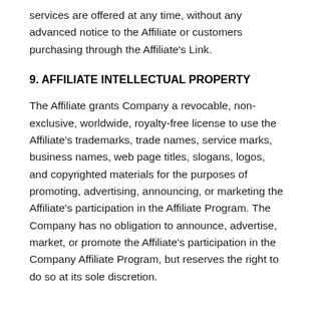services are offered at any time, without any advanced notice to the Affiliate or customers purchasing through the Affiliate's Link.
9. AFFILIATE INTELLECTUAL PROPERTY
The Affiliate grants Company a revocable, non-exclusive, worldwide, royalty-free license to use the Affiliate's trademarks, trade names, service marks, business names, web page titles, slogans, logos, and copyrighted materials for the purposes of promoting, advertising, announcing, or marketing the Affiliate's participation in the Affiliate Program. The Company has no obligation to announce, advertise, market, or promote the Affiliate's participation in the Company Affiliate Program, but reserves the right to do so at its sole discretion.